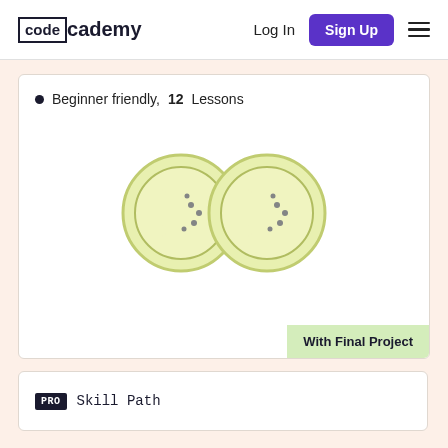codecademy — Log In | Sign Up
Beginner friendly, 12 Lessons
[Figure (illustration): Binoculars illustration with two circular lenses showing dark navy C-shapes inside yellow-green circles with dotted texture]
With Final Project
PRO Skill Path